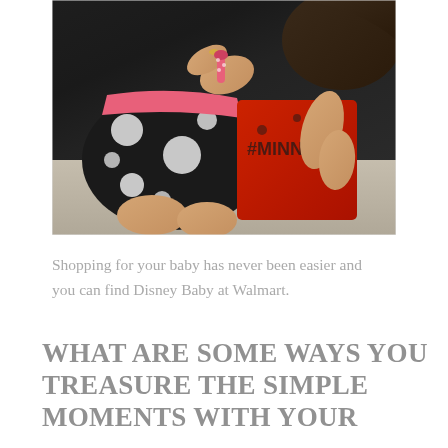[Figure (photo): A child wearing a black and white polka dot outfit and red Disney Minnie Mouse top, being dressed or helped with clothing by an adult's hands. The child has dark hair and is sitting on what appears to be a light-colored floor.]
Shopping for your baby has never been easier and you can find Disney Baby at Walmart.
WHAT ARE SOME WAYS YOU TREASURE THE SIMPLE MOMENTS WITH YOUR